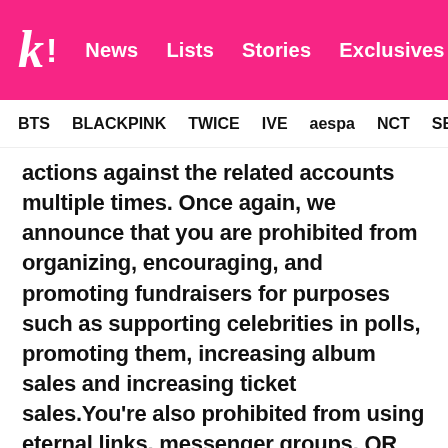K! News Lists Stories Exclusives
BTS BLACKPINK TWICE IVE aespa NCT SEVE
actions against the related accounts multiple times. Once again, we announce that you are prohibited from organizing, encouraging, and promoting fundraisers for purposes such as supporting celebrities in polls, promoting them, increasing album sales and increasing ticket sales.You're also prohibited from using eternal links, messenger groups, QR codes, etc. to direct fans to a 3rd-party platform for the purpose of fundraising. We are blacklisting all fundraiser app and blocking any related external links